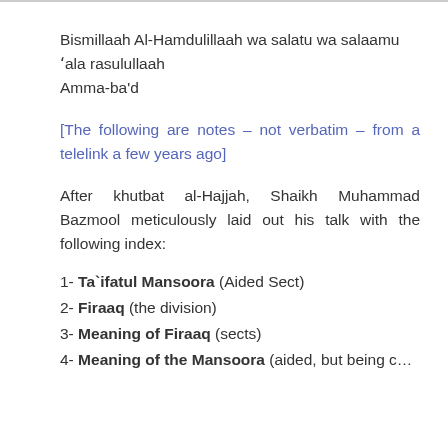Bismillaah Al-Hamdulillaah wa salatu wa salaamu 'ala rasulullaah
Amma-ba'd
[The following are notes – not verbatim – from a telelink a few years ago]
After khutbat al-Hajjah, Shaikh Muhammad Bazmool meticulously laid out his talk with the following index:
1- Ta`ifatul Mansoora (Aided Sect)
2- Firaaq (the division)
3- Meaning of Firaaq (sects)
4- Meaning of the Mansoora (aided, but being cut off)